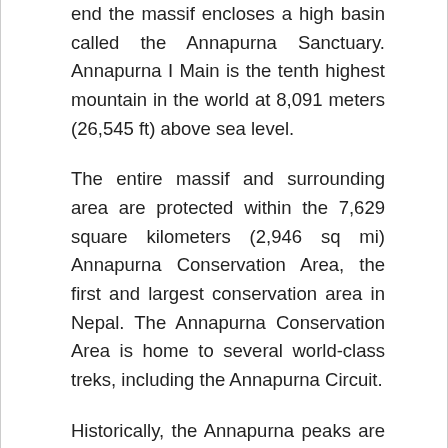end the massif encloses a high basin called the Annapurna Sanctuary. Annapurna I Main is the tenth highest mountain in the world at 8,091 meters (26,545 ft) above sea level.
The entire massif and surrounding area are protected within the 7,629 square kilometers (2,946 sq mi) Annapurna Conservation Area, the first and largest conservation area in Nepal. The Annapurna Conservation Area is home to several world-class treks, including the Annapurna Circuit.
Historically, the Annapurna peaks are among the world's most dangerous mountains to climb, although in more recent history, using only figures from 1990 and after,